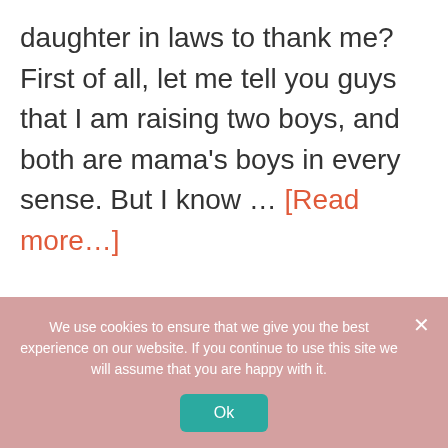daughter in laws to thank me? First of all, let me tell you guys that I am raising two boys, and both are mama's boys in every sense. But I know ... [Read more...]
[Figure (infographic): Social media icons row: Facebook, Instagram, LinkedIn, Pinterest, Twitter, YouTube — all in pink/magenta color]
We use cookies to ensure that we give you the best experience on our website. If you continue to use this site we will assume that you are happy with it.